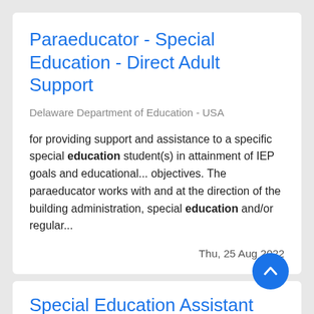Paraeducator - Special Education - Direct Adult Support
Delaware Department of Education - USA
for providing support and assistance to a specific special education student(s) in attainment of IEP goals and educational... objectives. The paraeducator works with and at the direction of the building administration, special education and/or regular...
Thu, 25 Aug 2022
Special Education Assistant